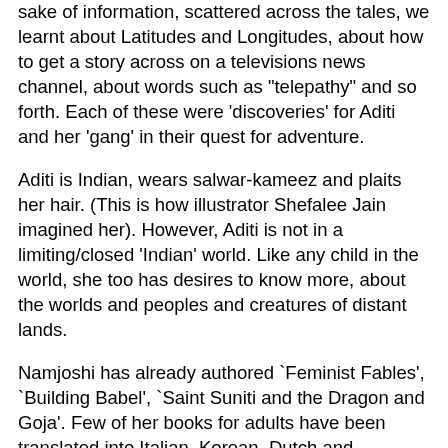sake of information, scattered across the tales, we learnt about Latitudes and Longitudes, about how to get a story across on a televisions news channel, about words such as "telepathy" and so forth. Each of these were 'discoveries' for Aditi and her 'gang' in their quest for adventure.
Aditi is Indian, wears salwar-kameez and plaits her hair. (This is how illustrator Shefalee Jain imagined her). However, Aditi is not in a limiting/closed 'Indian' world. Like any child in the world, she too has desires to know more, about the worlds and peoples and creatures of distant lands.
Namjoshi has already authored `Feminist Fables', `Building Babel', `Saint Suniti and the Dragon and Goja'. Few of her books for adults have been translated into Italian, Korean, Dutch and Spanish. Her books are apparently being used as texts in a few schools in Delhi, Baroda (Gujarat) and Pudukkottai (Tamil Nadu).
Namjoshi admittedly created Aditi for her own niece Aditi, who lives in Devon, UK. Apparently, children in a school in London were so impressed by the first Aditi book that they wished that Aditi - the book character - visits London during her adventures. So, Namjoshi created `Aditi and the Thames Dragon' (Tulika, 2002; reprinted by Spark-Tulika in 2005) for them. In this story, Aditi and her companions go to London to help two children, Rohit and